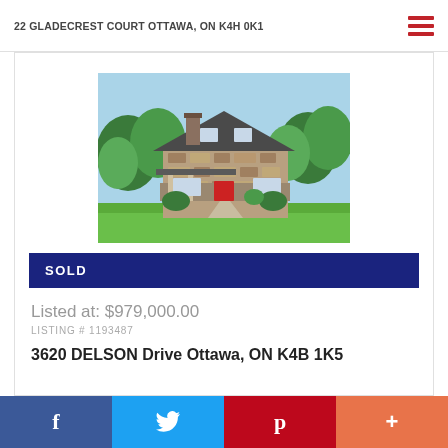22 GLADECREST Court Ottawa, ON K4H 0K1
[Figure (photo): Exterior photo of a stone house with dark roof, red door, covered porch, surrounded by green trees and lawn]
SOLD
Listed at: $979,000.00
LISTING # 1193487
3620 DELSON Drive Ottawa, ON K4B 1K5
f  Twitter  p  +